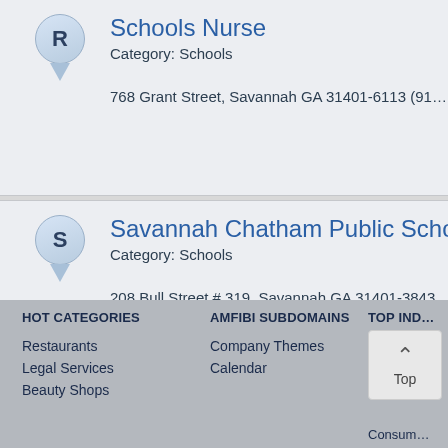Schools Nurse
Category: Schools
768 Grant Street, Savannah GA 31401-6113 (91…
Savannah Chatham Public Schoo…
Category: Schools
208 Bull Street # 319, Savannah GA 31401-3843…
Savannah-Chatham School Supt…
Category: Schools
208 Bull Street, Savannah GA 31401-3843 (912)…
HOT CATEGORIES
Restaurants
Legal Services
Beauty Shops
AMFIBI SUBDOMAINS
Company Themes
Calendar
TOP IND…
Consum…